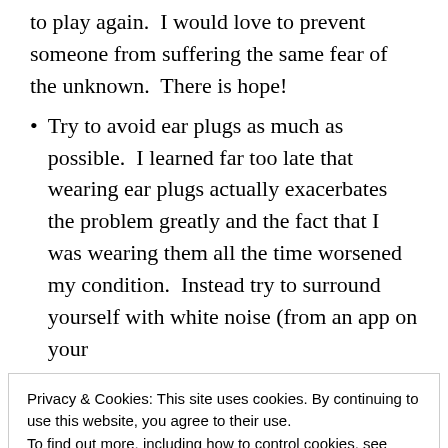to play again.  I would love to prevent someone from suffering the same fear of the unknown.  There is hope!
Try to avoid ear plugs as much as possible.  I learned far too late that wearing ear plugs actually exacerbates the problem greatly and the fact that I was wearing them all the time worsened my condition.  Instead try to surround yourself with white noise (from an app on your
Privacy & Cookies: This site uses cookies. By continuing to use this website, you agree to their use.
To find out more, including how to control cookies, see here: Cookie Policy
Close and accept
Tinnitus Retraining Therapy if at all possible. I